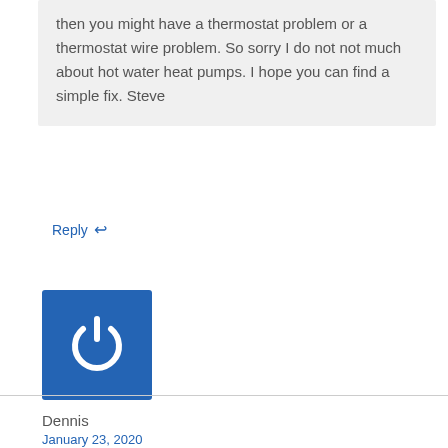then you might have a thermostat problem or a thermostat wire problem. So sorry I do not not much about hot water heat pumps. I hope you can find a simple fix. Steve
Reply ↩
[Figure (logo): Blue square avatar icon with white power button symbol]
Dennis
January 23, 2020